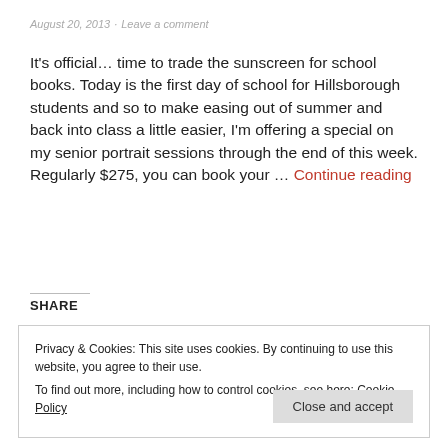August 20, 2013  Leave a comment
It's official… time to trade the sunscreen for school books. Today is the first day of school for Hillsborough students and so to make easing out of summer and back into class a little easier, I'm offering a special on my senior portrait sessions through the end of this week. Regularly $275, you can book your … Continue reading
SHARE
Privacy & Cookies: This site uses cookies. By continuing to use this website, you agree to their use.
To find out more, including how to control cookies, see here: Cookie Policy